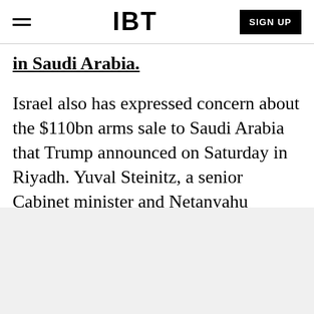IBT | SIGN UP
in Saudi Arabia.
Israel also has expressed concern about the $110bn arms sale to Saudi Arabia that Trump announced on Saturday in Riyadh. Yuval Steinitz, a senior Cabinet minister and Netanyahu confidant, called Saudi Arabia "a hostile country" and said the deal was "definitely something that should trouble us".